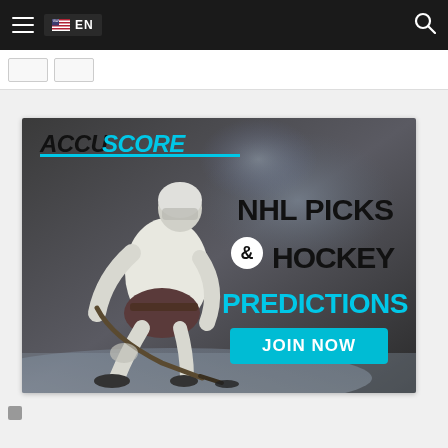EN (navigation bar with hamburger menu and search icon)
[Figure (screenshot): AccuScore advertisement banner showing a hockey player in action pose, with text 'NHL PICKS & HOCKEY PREDICTIONS' and 'JOIN NOW' button in cyan/teal color]